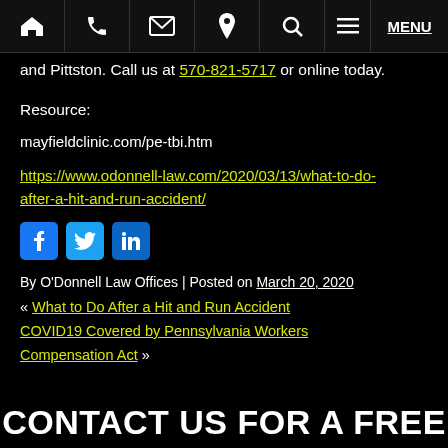Navigation bar with home, phone, email, location, search, menu icons and MENU link
and Pittston. Call us at 570-821-5717 or online today.
Resource:
mayfieldclinic.com/pe-tbi.htm
https://www.odonnell-law.com/2020/03/13/what-to-do-after-a-hit-and-run-accident/
[Figure (other): Social media share icons: Facebook (blue), Twitter (blue), LinkedIn (blue)]
By O'Donnell Law Offices | Posted on March 20, 2020
« What to Do After a Hit and Run Accident
COVID19 Covered by Pennsylvania Workers Compensation Act »
CONTACT US FOR A FREE